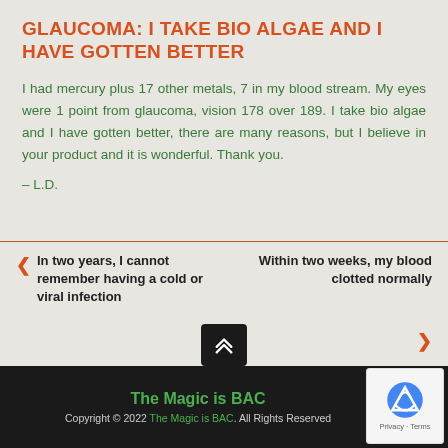GLAUCOMA: I TAKE BIO ALGAE AND I HAVE GOTTEN BETTER
I had mercury plus 17 other metals, 7 in my blood stream. My eyes were 1 point from glaucoma, vision 178 over 189. I take bio algae and I have gotten better, there are many reasons, but I believe in your product and it is wonderful. Thank you.
– L.D.
In two years, I cannot remember having a cold or viral infection
Within two weeks, my blood clotted normally
The Magic is BAC
Copyright © 2022 The Magic is BAC. All Rights Reserved